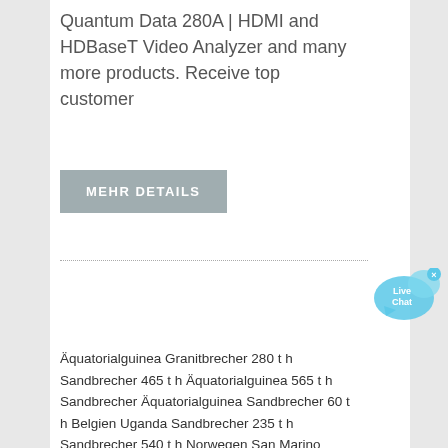Quantum Data 280A | HDMI and HDBaseT Video Analyzer and many more products. Receive top customer
[Figure (other): Button with gray background labeled MEHR DETAILS in white bold uppercase text]
[Figure (other): Live Chat bubble icon in light blue with white X close button, text: Live Chat]
Äquatorialguinea Granitbrecher 280 t h Sandbrecher 465 t h Äquatorialguinea 565 t h Sandbrecher Äquatorialguinea Sandbrecher 60 t h Belgien Uganda Sandbrecher 235 t h Sandbrecher 540 t h Norwegen San Marino Sandbrecher 325 t h gebrauchter Sandbrecher zum Verkauf in den USA Sandbrecher 430 t h Kuwait